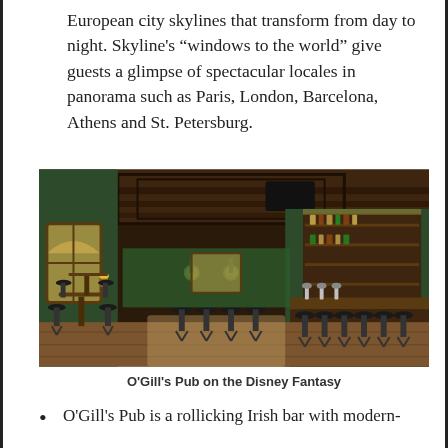European city skylines that transform from day to night. Skyline's “windows to the world” give guests a glimpse of spectacular locales in panorama such as Paris, London, Barcelona, Athens and St. Petersburg.
[Figure (photo): Interior photo of O’Gill’s Pub on the Disney Fantasy — an Irish-style bar with dark wood paneling, green walls, arched windows, bar stools, and a well-stocked bar counter with shelving.]
O’Gill’s Pub on the Disney Fantasy
O’Gill’s Pub is a rollicking Irish bar with modern-